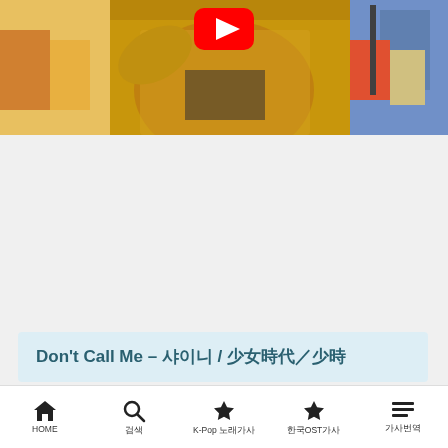[Figure (screenshot): YouTube video thumbnail showing a person in a golden jacket with colorful buildings in background and YouTube play button overlay]
Don't Call Me  –  샤이니 / 沙碌奶／少女時代
You used to be the only one in this town who stood by me
คุณเคยเป็นคนเดียวในเมืองนี้ที่ยืนเคียงข้างฉัน
HOME 검색 K-Pop 노래가사 한국OST가사 가사번역